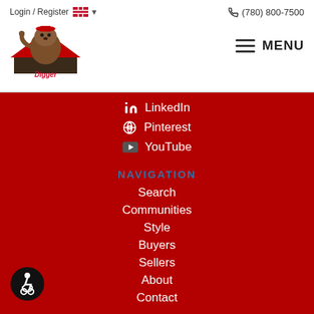Login / Register  (780) 800-7500  MENU
[Figure (logo): Digger Real Estate logo - cartoon beaver mascot wearing red cap with house graphic and text 'Digger Real Estate']
LinkedIn
Pinterest
YouTube
NAVIGATION
Search
Communities
Style
Buyers
Sellers
About
Contact
[Figure (illustration): Accessibility icon - wheelchair user symbol in black circle]